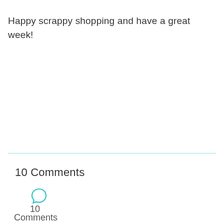Happy scrappy shopping and have a great week!
10 Comments
10
Comments